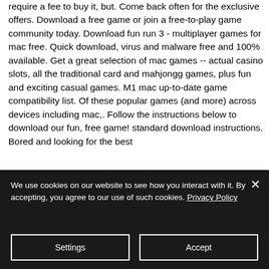require a fee to buy it, but. Come back often for the exclusive offers. Download a free game or join a free-to-play game community today. Download fun run 3 - multiplayer games for mac free. Quick download, virus and malware free and 100% available. Get a great selection of mac games -- actual casino slots, all the traditional card and mahjongg games, plus fun and exciting casual games. M1 mac up-to-date game compatibility list. Of these popular games (and more) across devices including mac,. Follow the instructions below to download our fun, free game! standard download instructions. Bored and looking for the best
[Figure (screenshot): Dark game screenshot panel on the right side of the page]
We use cookies on our website to see how you interact with it. By accepting, you agree to our use of such cookies. Privacy Policy
Settings
Accept